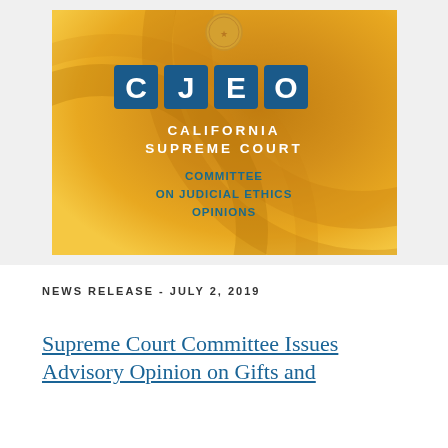[Figure (logo): CJEO — California Supreme Court Committee on Judicial Ethics Opinions logo on a golden/amber gradient background with decorative circular swooshes and the California state seal at the top.]
NEWS RELEASE - JULY 2, 2019
Supreme Court Committee Issues Advisory Opinion on Gifts and